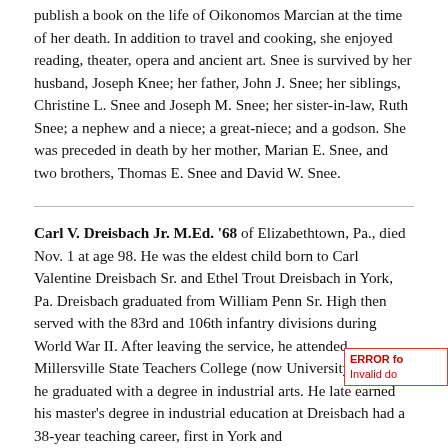publish a book on the life of Oikonomos Marcian at the time of her death. In addition to travel and cooking, she enjoyed reading, theater, opera and ancient art. Snee is survived by her husband, Joseph Knee; her father, John J. Snee; her siblings, Christine L. Snee and Joseph M. Snee; her sister-in-law, Ruth Snee; a nephew and a niece; a great-niece; and a godson. She was preceded in death by her mother, Marian E. Snee, and two brothers, Thomas E. Snee and David W. Snee.
Carl V. Dreisbach Jr. M.Ed. '68 of Elizabethtown, Pa., died Nov. 1 at age 98. He was the eldest child born to Carl Valentine Dreisbach Sr. and Ethel Trout Dreisbach in York, Pa. Dreisbach graduated from William Penn Sr. High then served with the 83rd and 106th infantry divisions during World War II. After leaving the service, he attended Millersville State Teachers College (now University), where he graduated with a degree in industrial arts. He late earned his master's degree in industrial education at Dreisbach had a 38-year teaching career, first in York and then in Wilkinsburg, Pa. He served the Teacher of the